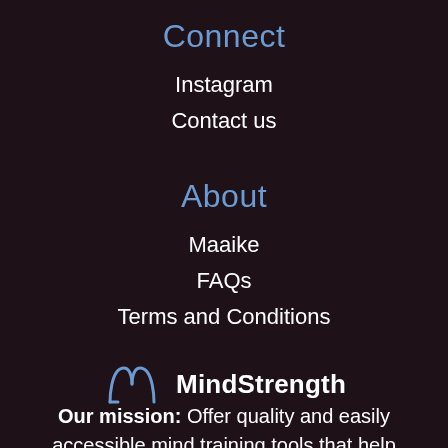Connect
Instagram
Contact us
About
Maaike
FAQs
Terms and Conditions
[Figure (logo): MindStrength logo with stylized double-arch icon in blue outline and bold white text 'MindStrength']
Our mission: Offer quality and easily accessible mind training tools that help cultivate a more resilient and stronger mind